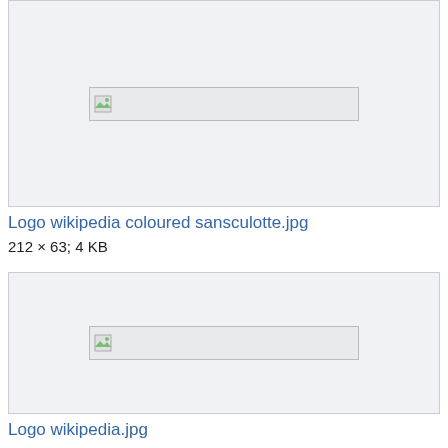[Figure (other): Broken image placeholder in a light grey box representing Logo wikipedia coloured sansculotte.jpg]
Logo wikipedia coloured sansculotte.jpg
212 × 63; 4 KB
[Figure (other): Broken image placeholder in a light grey box representing Logo wikipedia.jpg]
Logo wikipedia.jpg
361 × 100; 8 KB
[Figure (other): Broken image placeholder in a light grey box, partial view of third image entry]